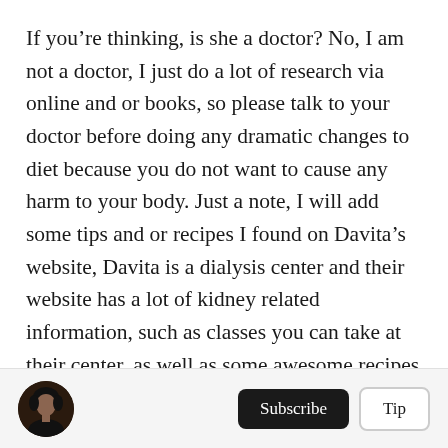If you're thinking, is she a doctor? No, I am not a doctor, I just do a lot of research via online and or books, so please talk to your doctor before doing any dramatic changes to diet because you do not want to cause any harm to your body. Just a note, I will add some tips and or recipes I found on Davita's website, Davita is a dialysis center and their website has a lot of kidney related information, such as classes you can take at their center, as well as some awesome recipes that are kidney-friendly and for people who are on dialysis, and I would totally recommend checking out their website.
[Figure (photo): Small circular avatar photo of a person with dark hair wearing a dark jacket]